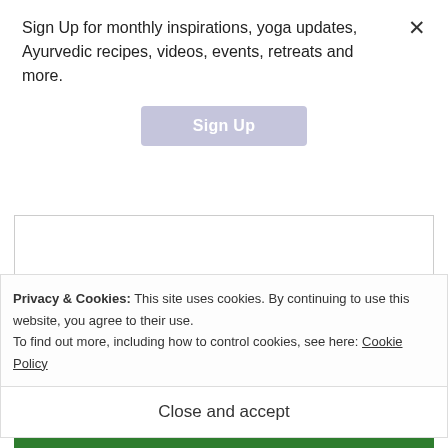Sign Up for monthly inspirations, yoga updates, Ayurvedic recipes, videos, events, retreats and more.
[Figure (screenshot): A 'Sign Up' button with light purple/lavender background color]
EMAIL *
Privacy & Cookies: This site uses cookies. By continuing to use this website, you agree to their use. To find out more, including how to control cookies, see here: Cookie Policy
Close and accept